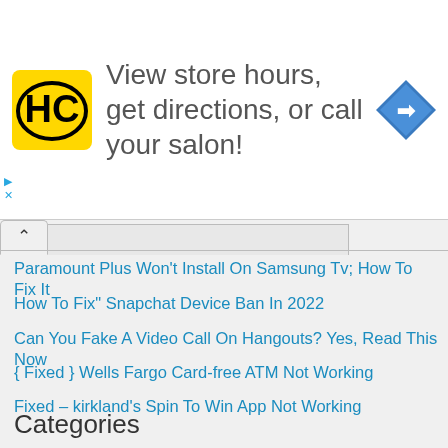[Figure (infographic): Advertisement banner with HC logo and text 'View store hours, get directions, or call your salon!' with a blue navigation arrow icon]
Paramount Plus Won't Install On Samsung Tv; How To Fix It
How To Fix" Snapchat Device Ban In 2022
Can You Fake A Video Call On Hangouts? Yes, Read This Now
{ Fixed } Wells Fargo Card-free ATM Not Working
Fixed – kirkland's Spin To Win App Not Working
4 Ways To Stop Someone From Reading Your Text Messages On iPhone
4 Ways To Stop Someone From Tracking Your iPhone Without Them Knowing
Categories